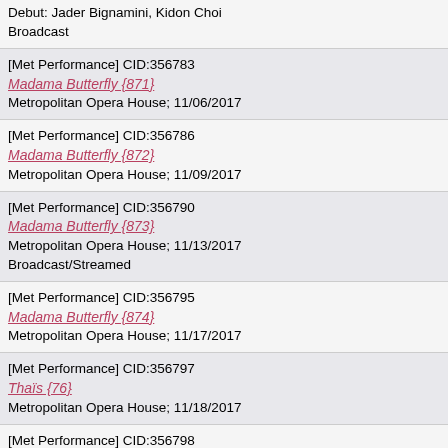Debut: Jader Bignamini, Kidon Choi
Broadcast
[Met Performance] CID:356783
Madama Butterfly {871}
Metropolitan Opera House; 11/06/2017
[Met Performance] CID:356786
Madama Butterfly {872}
Metropolitan Opera House; 11/09/2017
[Met Performance] CID:356790
Madama Butterfly {873}
Metropolitan Opera House; 11/13/2017
Broadcast/Streamed
[Met Performance] CID:356795
Madama Butterfly {874}
Metropolitan Opera House; 11/17/2017
[Met Performance] CID:356797
Thaïs {76}
Metropolitan Opera House; 11/18/2017
[Met Performance] CID:356798
Madama Butterfly {875}
Metropolitan Opera House; 11/20/2017
[Met Performance] CID:356800
Thaïs {77}
Metropolitan Opera House; 11/22/2017
Broadcast
[Met Performance] CID:356802
Die Zauberflöte {438}
Metropolitan Opera House; 11/25/2017